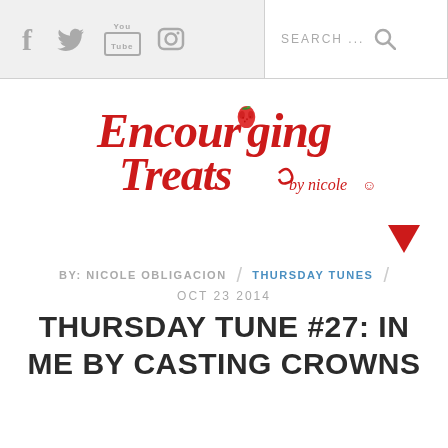Social icons (Facebook, Twitter, YouTube, Instagram) / SEARCH ...
[Figure (logo): Encouraging Treats by nicole logo with red decorative font and strawberry icon]
[Figure (other): Red downward arrow icon]
BY: NICOLE OBLIGACION / THURSDAY TUNES / OCT 23 2014
THURSDAY TUNE #27: IN ME BY CASTING CROWNS